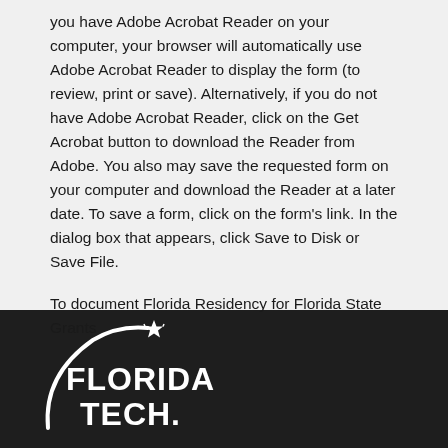you have Adobe Acrobat Reader on your computer, your browser will automatically use Adobe Acrobat Reader to display the form (to review, print or save). Alternatively, if you do not have Adobe Acrobat Reader, click on the Get Acrobat button to download the Reader from Adobe. You also may save the requested form on your computer and download the Reader at a later date. To save a form, click on the form's link. In the dialog box that appears, click Save to Disk or Save File.
To document Florida Residency for Florida State Grants
[Figure (logo): Florida Tech logo — white arc with star on dark background, text FLORIDA TECH in bold white letters]